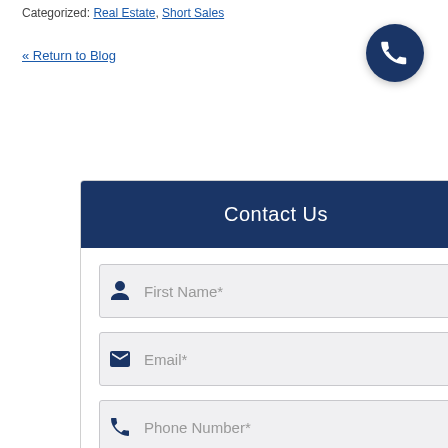Categorized: Real Estate, Short Sales
« Return to Blog
Contact Us
[Figure (screenshot): Contact Us form with fields: First Name*, Email*, Phone Number*, Message, and a phone FAB button in the bottom right corner.]